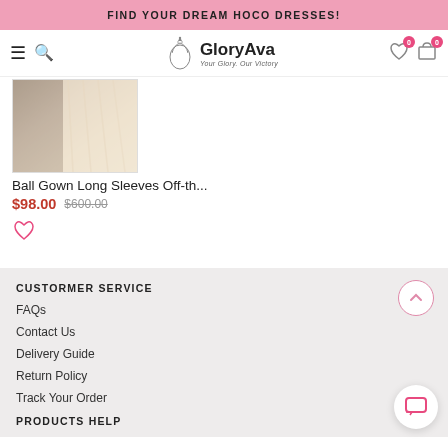FIND YOUR DREAM HOCO DRESSES!
[Figure (logo): GloryAva logo with crown illustration and tagline 'Your Glory. Our Victory']
[Figure (photo): Ball gown product photo showing champagne/ivory tulle and lace fabric]
Ball Gown Long Sleeves Off-th...
$98.00  $600.00
CUSTORMER SERVICE
FAQs
Contact Us
Delivery Guide
Return Policy
Track Your Order
PRODUCTS HELP